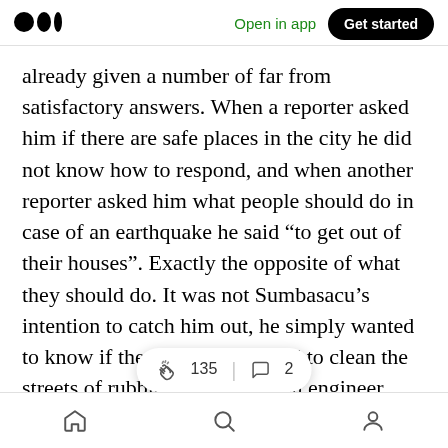Medium app header — logo, Open in app, Get started
already given a number of far from satisfactory answers. When a reporter asked him if there are safe places in the city he did not know how to respond, and when another reporter asked him what people should do in case of an earthquake he said “to get out of their houses”. Exactly the opposite of what they should do. It was not Sumbasacu’s intention to catch him out, he simply wanted to know if the resources existed to clean the streets of rubble. A construction engineer with a r… …n earthquake structural analy… …28, recently
Bottom navigation: Home, Search, Profile